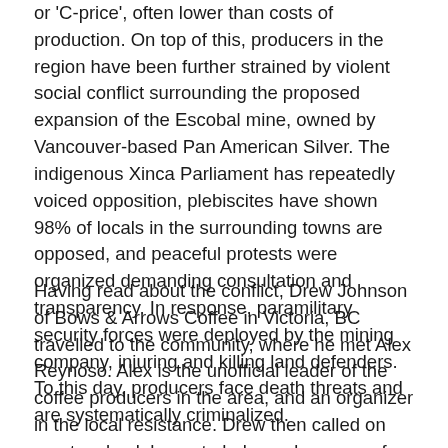or 'C-price', often lower than costs of production. On top of this, producers in the region have been further strained by violent social conflict surrounding the proposed expansion of the Escobal mine, owned by Vancouver-based Pan American Silver. The indigenous Xinca Parliament has repeatedly voiced opposition, plebiscites have shown 98% of locals in the surrounding towns are opposed, and peaceful protests were organized demanding consultation and transparency. In response, paramilitary security forces were deployed by the mining company, injuring and killing land defenders. To this day, producers face death threats and are systematically criminalized.
Having read about the conflict, Drew Johnson of Bows & Arrows Coffee in Victoria, BC travelled to the community, where he met Alex Reynoso. Alex is the unofficial leader of the coffee producers in the area, and an organizer in the local resistance. Drew then called on roasters back home to help, and a group of mostly BC-based coffee companies formed a makeshift buying group in 2019 with the goal of